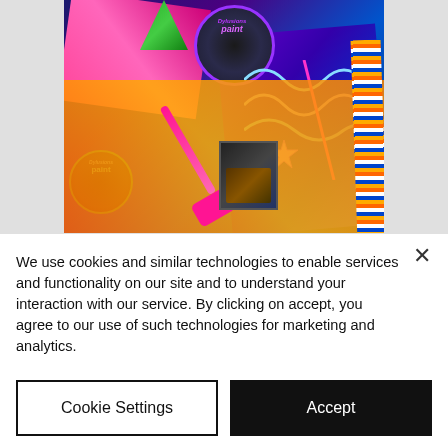[Figure (photo): A colorful art journaling photo showing various craft supplies including paint jars (Dylusions brand), colorful art journal pages, cards with purple/blue and orange/yellow patterns, pink pen and eraser, green leaves, arranged in an overhead flat-lay style.]
Kids Art Journaling
We use cookies and similar technologies to enable services and functionality on our site and to understand your interaction with our service. By clicking on accept, you agree to our use of such technologies for marketing and analytics.
Cookie Settings
Accept